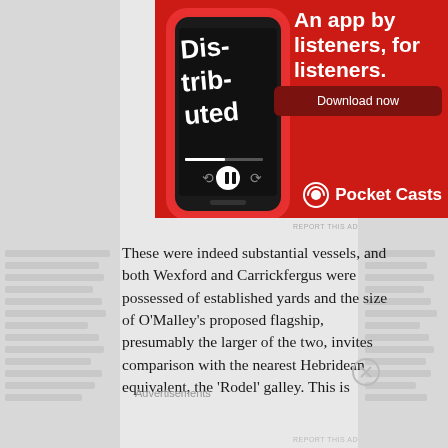[Figure (screenshot): Pocket Casts podcast app advertisement on red background showing a smartphone with the app open displaying 'Distributed' podcast. Text reads 'An app by listeners, for listeners.' with a 'Download now' button and Pocket Casts logo.]
These were indeed substantial vessels, and both Wexford and Carrickfergus were possessed of established yards and the size of O'Malley's proposed flagship, presumably the larger of the two, invites comparison with the nearest Hebridean equivalent, the 'Rodel' galley. This is
Advertisements